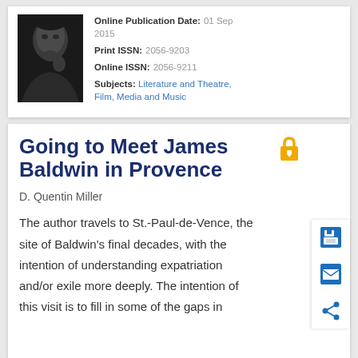[Figure (photo): Black and white book cover of James Baldwin Review showing a portrait photo of James Baldwin with text 'James Baldwin Review' in the lower left corner]
Online Publication Date: 01 Sep 2015
Print ISSN: 2056-9203
Online ISSN: 2056-9211
Subjects: Literature and Theatre, Film, Media and Music
Going to Meet James Baldwin in Provence
D. Quentin Miller
The author travels to St.-Paul-de-Vence, the site of Baldwin's final decades, with the intention of understanding expatriation and/or exile more deeply. The intention of this visit is to fill in some of the gaps in